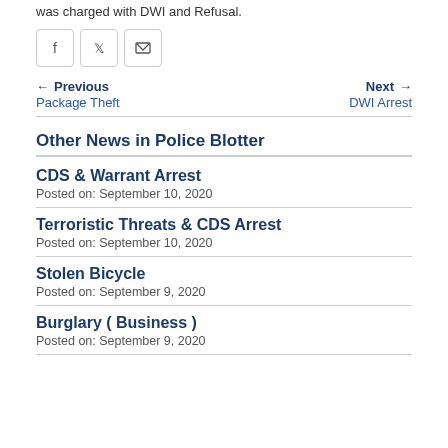was charged with DWI and Refusal.
[Figure (other): Social sharing buttons: Facebook, Twitter, Email]
← Previous   Package Theft     Next →   DWI Arrest
Other News in Police Blotter
CDS & Warrant Arrest
Posted on: September 10, 2020
Terroristic Threats & CDS Arrest
Posted on: September 10, 2020
Stolen Bicycle
Posted on: September 9, 2020
Burglary ( Business )
Posted on: September 9, 2020